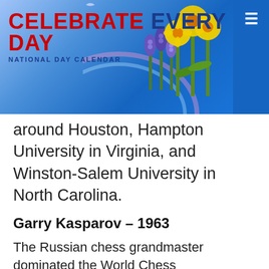CELEBRATE EVERY DAY — NATIONAL DAY CALENDAR
around Houston, Hampton University in Virginia, and Winston-Salem University in North Carolina.
Garry Kasparov – 1963
The Russian chess grandmaster dominated the World Chess Championship for nearly three decades. Kasparov took on IBM's supercomputer Deep Blue two times. In the first match, Kasparov won. However, the following year, Deep Blue won.